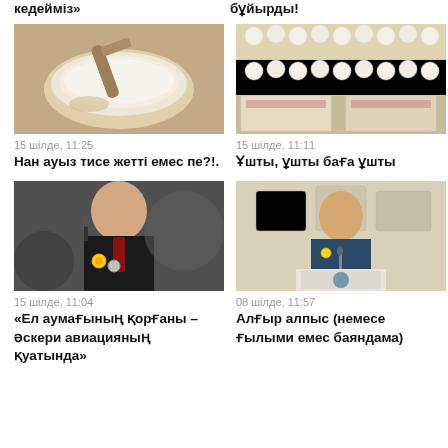кедейміз»
бұйырды!
[Figure (photo): Bowl of white liquid (kumiss/milk) with wooden spoon on table]
15 шілде, 11:25
Нан ауыз тисе жетті емес пе?!.
[Figure (photo): Stacked cartons of eggs in warehouse]
15 шілде, 11:11
Ұшты, ұшты баға ұшты
[Figure (photo): Older man in black suit with medals speaking at microphone]
15 шілде, 11:04
«Ел аумағының қорғаны – әскери авиацияның қуатында»
[Figure (photo): Older man in blue suit with medal speaking at podium with Kazakhstan emblem]
08 шілде, 11:57
Алғыр алпыс (немесе ғылыми емес баяндама)